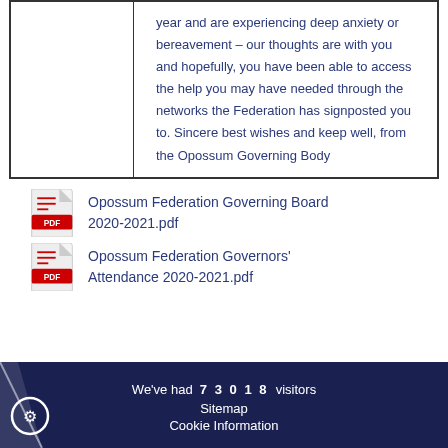|  | year and are experiencing deep anxiety or bereavement – our thoughts are with you and hopefully, you have been able to access the help you may have needed through the networks the Federation has signposted you to. Sincere best wishes and keep well, from the Opossum Governing Body |
Opossum Federation Governing Board 2020-2021.pdf
Opossum Federation Governors' Attendance 2020-2021.pdf
We've had 73018 visitors  Sitemap  Cookie Information